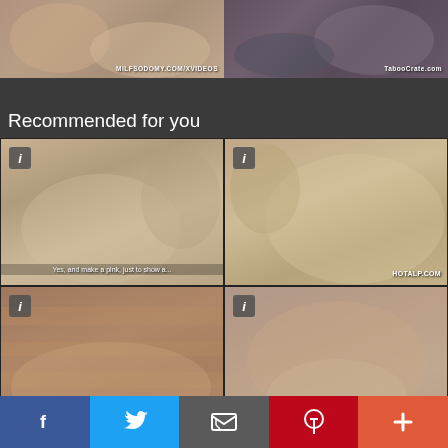[Figure (photo): Top banner with two adult video thumbnails side by side. Left thumbnail shows watermark 'MILFSODOMY.COM/XVIDEOS', right thumbnail shows watermark 'TabooCrate.com']
Recommended for you
[Figure (photo): Video thumbnail 1: Two women on white couch, subtitle text 'Yes, and make a pink, just to show a...']
[Figure (photo): Video thumbnail 2: Close-up adult content with watermark 'HOTALP.COM']
[Figure (photo): Video thumbnail 3: Adult content on tiger-print surface]
[Figure (photo): Video thumbnail 4: Adult content on bed]